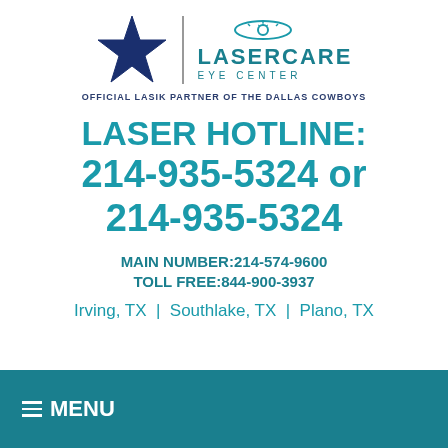[Figure (logo): LaserCare Eye Center logo with Dallas Cowboys star and text 'OFFICIAL LASIK PARTNER OF THE DALLAS COWBOYS']
LASER HOTLINE: 214-935-5324 or 214-935-5324
MAIN NUMBER:214-574-9600
TOLL FREE:844-900-3937
Irving, TX  |  Southlake, TX  |  Plano, TX
≡ MENU